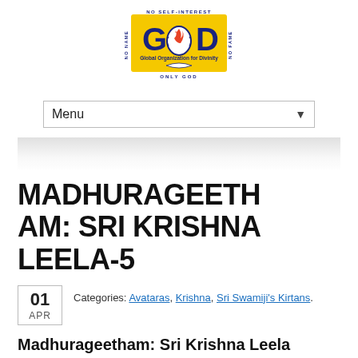[Figure (logo): Global Organization for Divinity (GOD) logo — yellow rectangle with large blue GOD text, flame inside O, laurel wreath, text 'No Self-Interest', 'No Name', 'No Fame', 'Only God', 'Global Organization for Divinity']
MADHURAGEETH AM: SRI KRISHNA LEELA-5
01 APR — Categories: Avataras, Krishna, Sri Swamiji's Kirtans.
Madhurageetham: Sri Krishna Leela